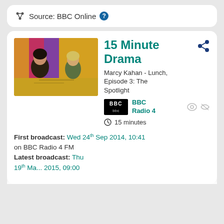Source: BBC Online ?
15 Minute Drama
Marcy Kahan - Lunch, Episode 3: The Spotlight
BBC Radio 4
15 minutes
First broadcast: Wed 24th Sep 2014, 10:41 on BBC Radio 4 FM Latest broadcast: Thu 19th May 2015, 09:00